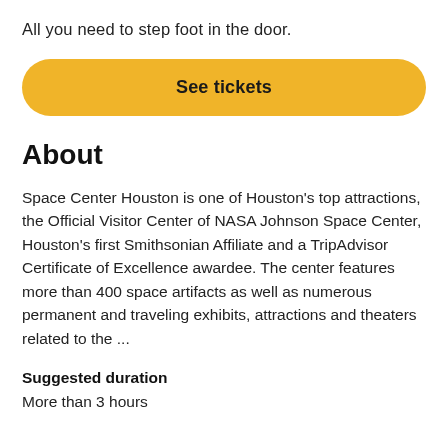All you need to step foot in the door.
[Figure (other): Yellow rounded button labeled 'See tickets']
About
Space Center Houston is one of Houston's top attractions, the Official Visitor Center of NASA Johnson Space Center, Houston's first Smithsonian Affiliate and a TripAdvisor Certificate of Excellence awardee. The center features more than 400 space artifacts as well as numerous permanent and traveling exhibits, attractions and theaters related to the ...
Suggested duration
More than 3 hours